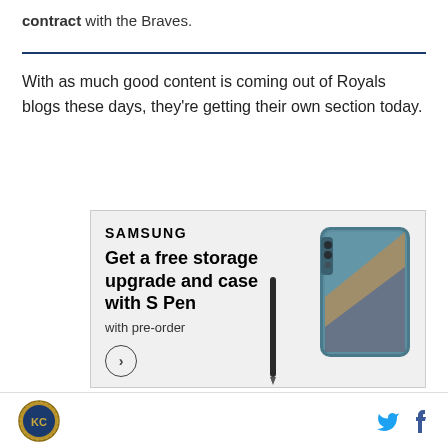contract with the Braves.
With as much good content is coming out of Royals blogs these days, they're getting their own section today.
[Figure (other): Samsung advertisement showing a foldable phone with text: SAMSUNG, Get a free storage upgrade and case with S Pen, with pre-order, and a circular arrow button.]
Royals logo icon, Twitter icon, Facebook icon